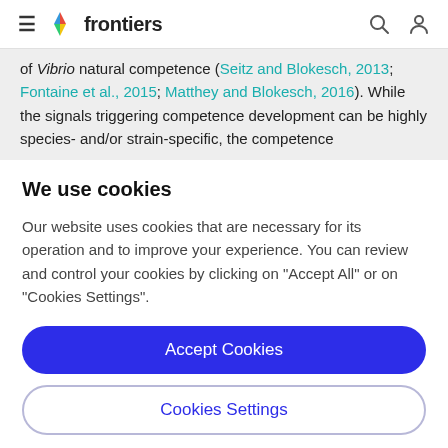frontiers
of Vibrio natural competence (Seitz and Blokesch, 2013; Fontaine et al., 2015; Matthey and Blokesch, 2016). While the signals triggering competence development can be highly species- and/or strain-specific, the competence
We use cookies
Our website uses cookies that are necessary for its operation and to improve your experience. You can review and control your cookies by clicking on "Accept All" or on "Cookies Settings".
Accept Cookies
Cookies Settings